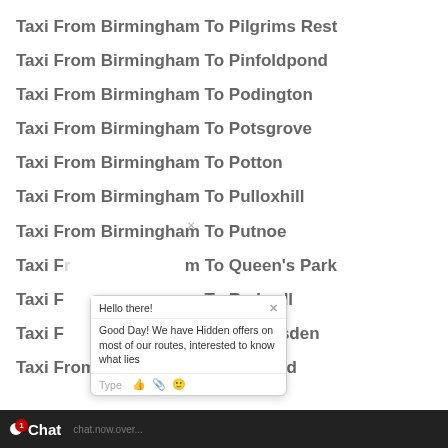Taxi From Birmingham To Pilgrims Rest
Taxi From Birmingham To Pinfoldpond
Taxi From Birmingham To Podington
Taxi From Birmingham To Potsgrove
Taxi From Birmingham To Potton
Taxi From Birmingham To Pulloxhill
Taxi From Birmingham To Putnoe
Taxi From Birmingham To Queen's Park
Taxi From Birmingham To Radwell
Taxi From Birmingham To Ravensden
Taxi From Birmingham To Renhold